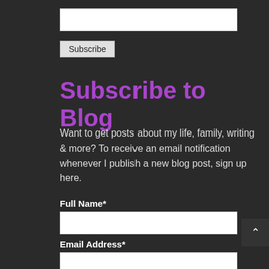[Figure (screenshot): White text input field at top of page]
Subscribe
Subscribe to Blog
Want to get posts about my life, family, writing & more? To receive an email notification whenever I publish a new blog post, sign up here.
Full Name*
[Figure (screenshot): White text input field for Full Name]
Email Address*
[Figure (screenshot): White text input field for Email Address]
Subscribe